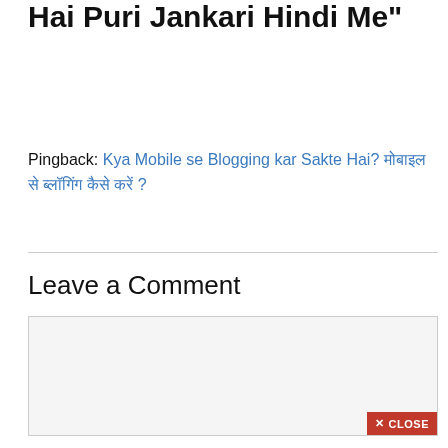2 thought on “Web Hosting Kya Hai Puri Jankari Hindi Me”
Pingback: Kya Mobile se Blogging kar Sakte Hai? मोबाइल से ब्लॉगिंग कैसे करें ?
Leave a Comment
[Figure (screenshot): Empty comment text area input box with light gray background and close button in bottom right corner]